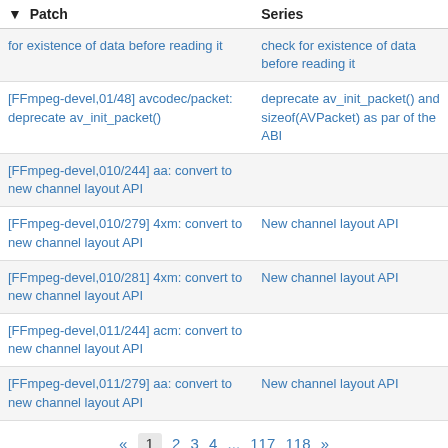| Patch | Series |
| --- | --- |
| for existence of data before reading it | check for existence of data before reading it |
| [FFmpeg-devel,01/48] avcodec/packet: deprecate av_init_packet() | deprecate av_init_packet() and sizeof(AVPacket) as part of the ABI |
| [FFmpeg-devel,010/244] aa: convert to new channel layout API |  |
| [FFmpeg-devel,010/279] 4xm: convert to new channel layout API | New channel layout API |
| [FFmpeg-devel,010/281] 4xm: convert to new channel layout API | New channel layout API |
| [FFmpeg-devel,011/244] acm: convert to new channel layout API |  |
| [FFmpeg-devel,011/279] aa: convert to new channel layout API | New channel layout API |
« 1 2 3 4 ... 117 118 »
patchwork patch tracking system | version v3.0.5.post12-g92c7920 | about patchwork